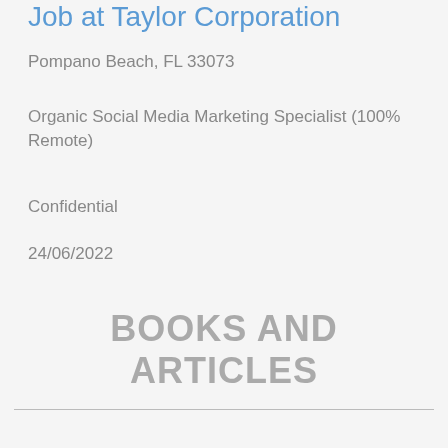Job at Taylor Corporation
Pompano Beach, FL 33073
Organic Social Media Marketing Specialist (100% Remote)
Confidential
24/06/2022
BOOKS AND ARTICLES